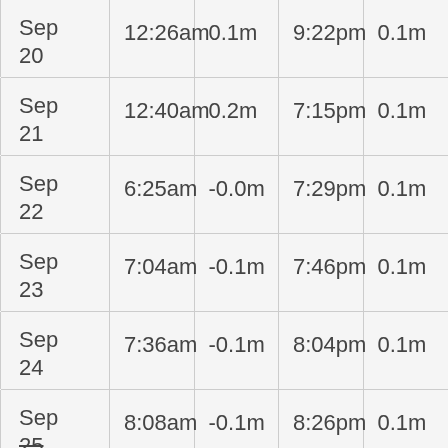| Date | Low Time | Low Height | High Time | High Height |
| --- | --- | --- | --- | --- |
| Sep 20 | 12:26am | 0.1m | 9:22pm | 0.1m |
| Sep 21 | 12:40am | 0.2m | 7:15pm | 0.1m |
| Sep 22 | 6:25am | -0.0m | 7:29pm | 0.1m |
| Sep 23 | 7:04am | -0.1m | 7:46pm | 0.1m |
| Sep 24 | 7:36am | -0.1m | 8:04pm | 0.1m |
| Sep 25 | 8:08am | -0.1m | 8:26pm | 0.1m |
| Sep 26 | 8:43am | -0.1m | 8:51pm | 0.1m |